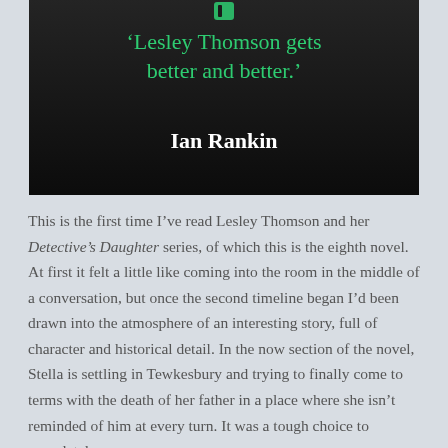[Figure (illustration): Dark book cover image with green quote text reading ''Lesley Thomson gets better and better.' Ian Rankin' on a dark atmospheric background with a partial green logo/icon at top]
This is the first time I've read Lesley Thomson and her Detective's Daughter series, of which this is the eighth novel. At first it felt a little like coming into the room in the middle of a conversation, but once the second timeline began I'd been drawn into the atmosphere of an interesting story, full of character and historical detail. In the now section of the novel, Stella is settling in Tewkesbury and trying to finally come to terms with the death of her father in a place where she isn't reminded of him at every turn. It was a tough choice to completely